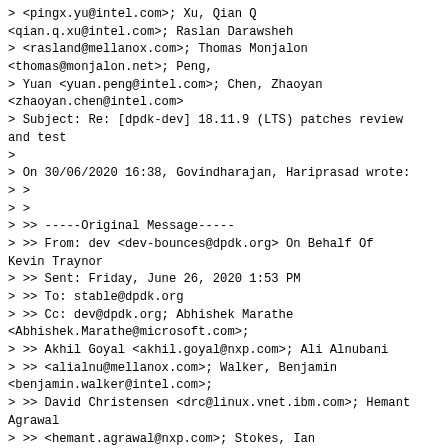> <pingx.yu@intel.com>; Xu, Qian Q <qian.q.xu@intel.com>; Raslan Darawsheh > <rasland@mellanox.com>; Thomas Monjalon <thomas@monjalon.net>; Peng, > Yuan <yuan.peng@intel.com>; Chen, Zhaoyan <zhaoyan.chen@intel.com> > Subject: Re: [dpdk-dev] 18.11.9 (LTS) patches review and test > > On 30/06/2020 16:38, Govindharajan, Hariprasad wrote: >> >> > >> -----Original Message----- > >> From: dev <dev-bounces@dpdk.org> On Behalf Of Kevin Traynor > >> Sent: Friday, June 26, 2020 1:53 PM > >> To: stable@dpdk.org > >> Cc: dev@dpdk.org; Abhishek Marathe <Abhishek.Marathe@microsoft.com>; > >> Akhil Goyal <akhil.goyal@nxp.com>; Ali Alnubani > >> <alialnu@mellanox.com>; Walker, Benjamin <benjamin.walker@intel.com>; > >> David Christensen <drc@linux.vnet.ibm.com>; Hemant Agrawal > >> <hemant.agrawal@nxp.com>; Stokes, Ian <ian.stokes@intel.com>; Jerin > >> Jacob <jerinj@marvell.com>; Mcnamara, John <john.mcnamara@intel.com>; > >> Ju-Hyoung Lee <juhlee@microsoft.com>; Kevin Traynor